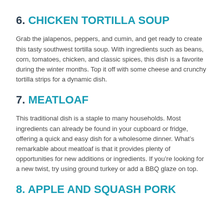6. CHICKEN TORTILLA SOUP
Grab the jalapenos, peppers, and cumin, and get ready to create this tasty southwest tortilla soup. With ingredients such as beans, corn, tomatoes, chicken, and classic spices, this dish is a favorite during the winter months. Top it off with some cheese and crunchy tortilla strips for a dynamic dish.
7. MEATLOAF
This traditional dish is a staple to many households. Most ingredients can already be found in your cupboard or fridge, offering a quick and easy dish for a wholesome dinner. What’s remarkable about meatloaf is that it provides plenty of opportunities for new additions or ingredients. If you’re looking for a new twist, try using ground turkey or add a BBQ glaze on top.
8. APPLE AND SQUASH PORK